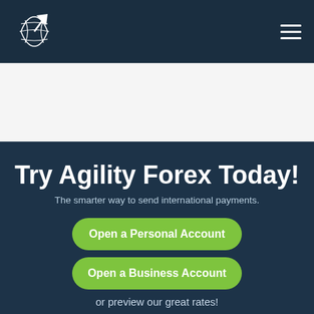Agility Forex logo and navigation menu
Try Agility Forex Today!
The smarter way to send international payments.
Open a Personal Account
Open a Business Account
or preview our great rates!